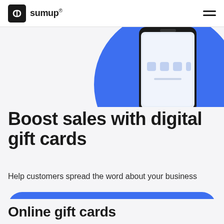sumup
[Figure (screenshot): Smartphone displaying a SumUp app interface, shown against a blue circular background in the upper right of the page.]
Boost sales with digital gift cards
Help customers spread the word about your business
Start selling gift cards
Online gift cards